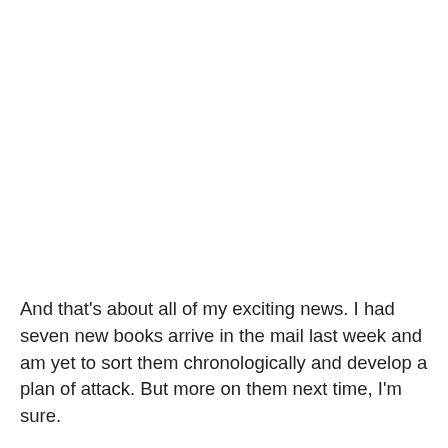And that's about all of my exciting news. I had seven new books arrive in the mail last week and am yet to sort them chronologically and develop a plan of attack. But more on them next time, I'm sure.